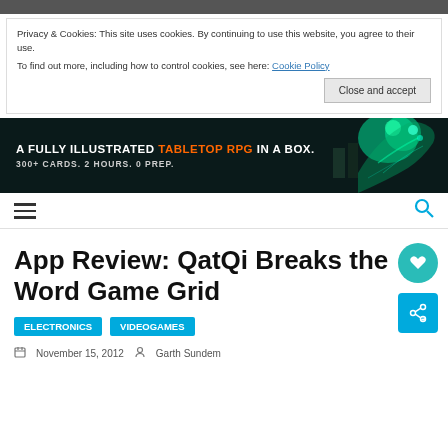Privacy & Cookies: This site uses cookies. By continuing to use this website, you agree to their use. To find out more, including how to control cookies, see here: Cookie Policy
Close and accept
[Figure (infographic): Advertisement banner: A FULLY ILLUSTRATED TABLETOP RPG IN A BOX. 300+ CARDS. 2 HOURS. 0 PREP. Dark background with green glowing creature illustration.]
Navigation bar with hamburger menu and search icon
App Review: QatQi Breaks the Word Game Grid
Electronics   Videogames
November 15, 2012   Garth Sundem